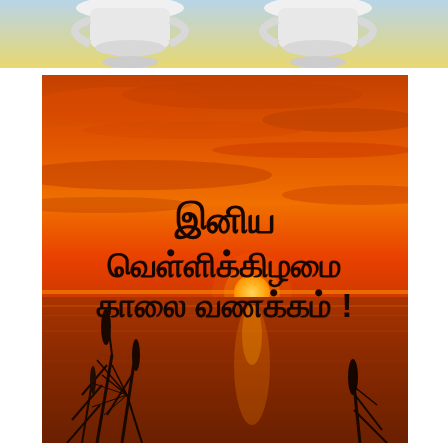[Figure (photo): Top portion: partial view of a trophy or award with white/silver cups on a light blue/yellow background, cropped at the top of the page.]
[Figure (photo): Large sunset landscape photo over a calm sea or ocean. Vivid orange and red sky with the sun just above the horizon, silhouettes of reeds/grass at the bottom. Tamil text overlay reading 'இனிய வெள்ளிக்கிழமை காலை வணக்கம்!' in bold dark/black font meaning 'Happy Friday Good Morning!']